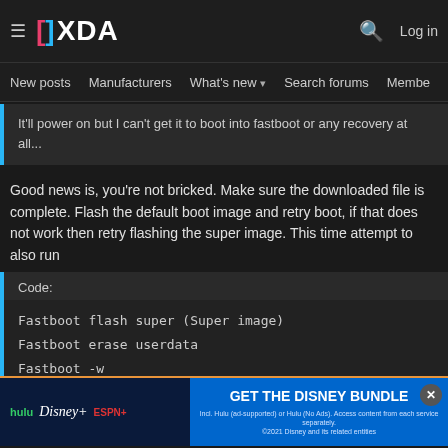XDA Developers — New posts | Manufacturers | What's new | Search forums | Members
It'll power on but I can't get it to boot into fastboot or any recovery at all...
Good news is, you're not bricked. Make sure the downloaded file is complete. Flash the default boot image and retry boot, if that does not work then retry flashing the super image. This time attempt to also run
Code:
Fastboot flash super (Super image)
Fastboot erase userdata
Fastboot -w
Fastboot reboot
[Figure (screenshot): Hulu Disney+ ESPN+ advertisement banner: GET THE DISNEY BUNDLE. Incl. Hulu (ad-supported) or Hulu (No Ads). Access content from each service separately. ©2021 Disney and its related entities]
If successful, flash boot twrp after first boot and follow instructions for installing on any Rometlist...